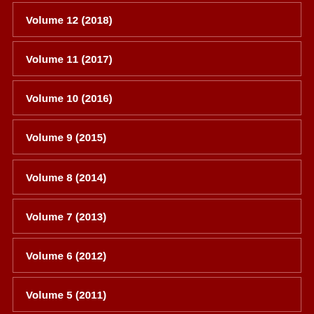Volume 12 (2018)
Volume 11 (2017)
Volume 10 (2016)
Volume 9 (2015)
Volume 8 (2014)
Volume 7 (2013)
Volume 6 (2012)
Volume 5 (2011)